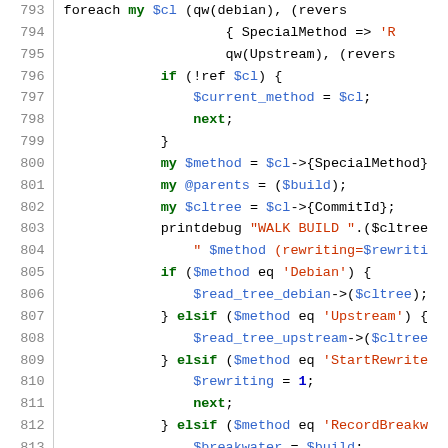[Figure (screenshot): Syntax-highlighted Perl source code listing lines 793–823, showing git tree walking logic with method dispatch on SpecialMethod values (Debian, Upstream, StartRewrite, RecordBreakwater, DgitImportDebian, DgitImportUpstream).]